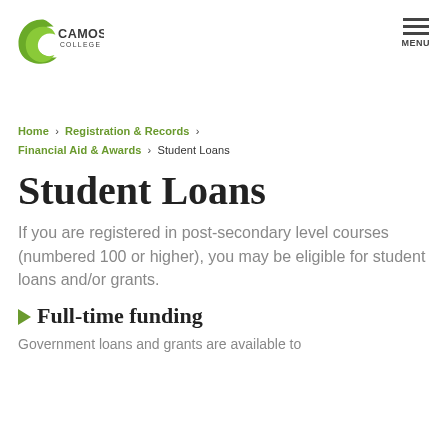[Figure (logo): Camosun College logo with green crescent C and text CAMOSUN COLLEGE]
MENU
Home > Registration & Records > Financial Aid & Awards > Student Loans
Student Loans
If you are registered in post-secondary level courses (numbered 100 or higher), you may be eligible for student loans and/or grants.
Full-time funding
Government loans and grants are available to